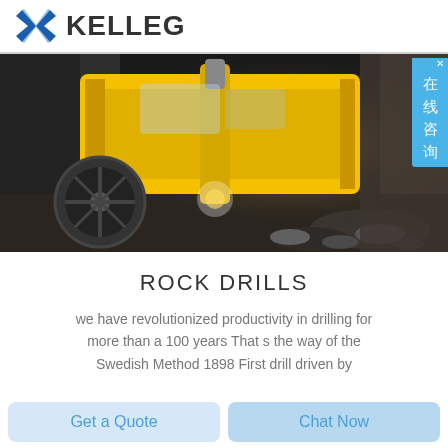[Figure (logo): KELLEG company logo with blue bowtie/tie icon and bold dark text KELLEG]
[Figure (photo): Underground mining tunnel with a large yellow drill machine/jumbo drilling rig operating in a dark rocky tunnel. Bright light from the drill work area illuminates the scene. Rocky debris visible on the tunnel floor.]
[Figure (other): Blue overlay button with Chinese characters '在线咨询' (online consultation) and a close X button in the top right corner of the photo]
ROCK DRILLS
we have revolutionized productivity in drilling for more than a 100 years That s the way of the Swedish Method 1898 First drill driven by
[Figure (other): Two buttons at the bottom: 'Get a Quote' (light blue) and 'Chat Now' (slightly darker light blue)]